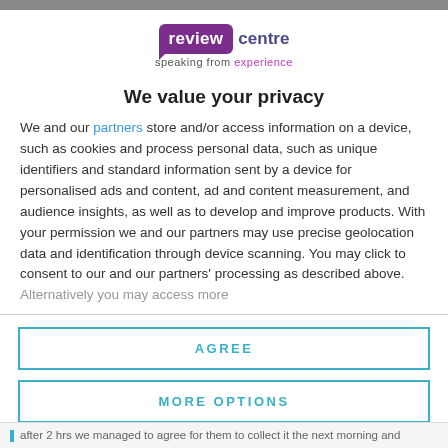[Figure (logo): Review Centre logo - purple speech bubble with 'review' in white, 'centre' in dark blue, tagline 'speaking from experience']
We value your privacy
We and our partners store and/or access information on a device, such as cookies and process personal data, such as unique identifiers and standard information sent by a device for personalised ads and content, ad and content measurement, and audience insights, as well as to develop and improve products. With your permission we and our partners may use precise geolocation data and identification through device scanning. You may click to consent to our and our partners' processing as described above. Alternatively you may access more
AGREE
MORE OPTIONS
after 2 hrs we managed to agree for them to collect it the next morning and